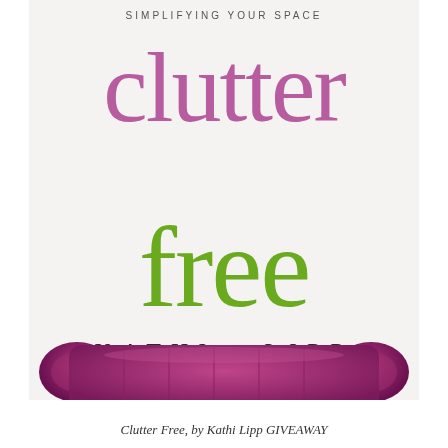[Figure (illustration): Book cover for 'Clutter Free: Simplifying Your Space' by Kathi Lipp. White/off-white background with the word 'clutter' in large purple/mauve letters, 'free' in large green letters below, subtitle 'SIMPLIFYING YOUR SPACE' in small spaced caps at the top, author name 'KATHI LIPP' in spaced serif letters in the middle, and a tufted purple/magenta velvet sofa at the bottom.]
Clutter Free, by Kathi Lipp GIVEAWAY